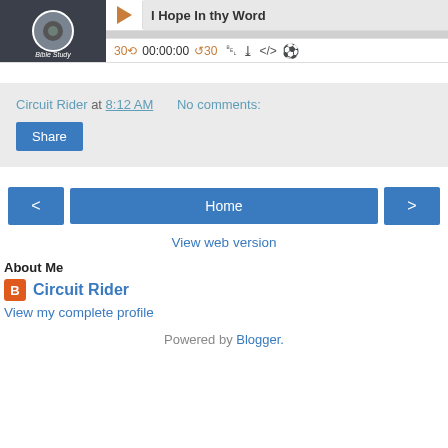[Figure (screenshot): Podcast/audio player widget showing album art for 'Bible Study', play button, song title 'I Hope In thy Word', progress bar, time controls (30 back, 00:00:00, 30 forward), and media icons]
Circuit Rider at 8:12 AM   No comments:
Share
< Home >
View web version
About Me
Circuit Rider
View my complete profile
Powered by Blogger.